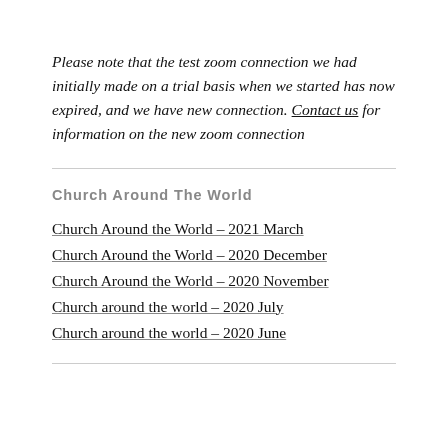Please note that the test zoom connection we had initially made on a trial basis when we started has now expired, and we have new connection. Contact us for information on the new zoom connection
Church Around The World
Church Around the World – 2021 March
Church Around the World – 2020 December
Church Around the World – 2020 November
Church around the world – 2020 July
Church around the world – 2020 June